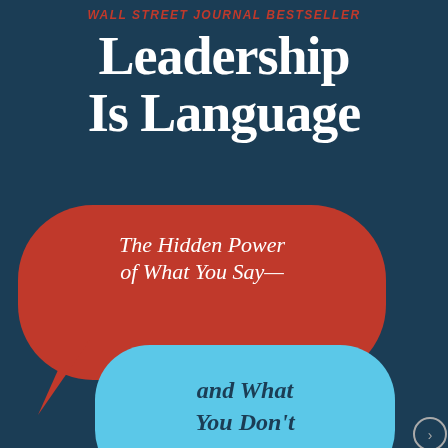WALL STREET JOURNAL BESTSELLER
Leadership Is Language
[Figure (illustration): Book cover showing a red speech bubble containing the text 'The Hidden Power of What You Say—' and a blue thought bubble containing 'and What You Don't', on a dark navy blue background, with thought bubble circles below.]